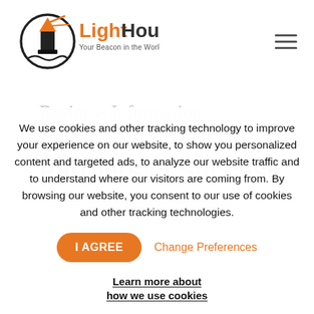LightHouse — Your Beacon in the World of Technology™
Business Information Solutions, LLC.
Partners in Success
Both Network Innovations and
We use cookies and other tracking technology to improve your experience on our website, to show you personalized content and targeted ads, to analyze our website traffic and to understand where our visitors are coming from. By browsing our website, you consent to our use of cookies and other tracking technologies.
I AGREE | Change Preferences | Learn more about how we use cookies